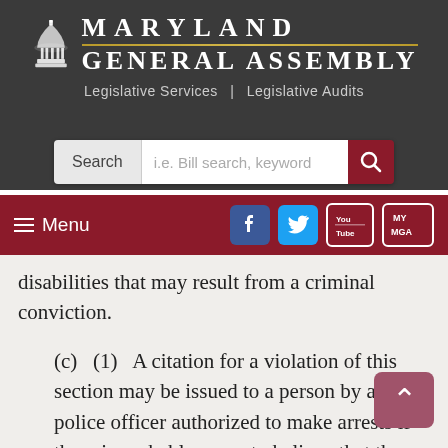[Figure (logo): Maryland General Assembly header with capitol building icon, 'MARYLAND GENERAL ASSEMBLY' title, and gold dividing line. Subtitle: 'Legislative Services | Legislative Audits']
[Figure (screenshot): Search bar with label 'Search' and placeholder text 'i.e. Bill search, keyword' and a dark red search button with magnifying glass icon]
[Figure (screenshot): Dark red menu bar with hamburger menu labeled 'Menu' and social media icons for Facebook, Twitter, YouTube, and MyMGA]
disabilities that may result from a criminal conviction.
(c) (1) A citation for a violation of this section may be issued to a person by a police officer authorized to make arrests if there is probable cause to believe that the person is committing or has committed a violation of this section.
(2) A citation issued under this subsection